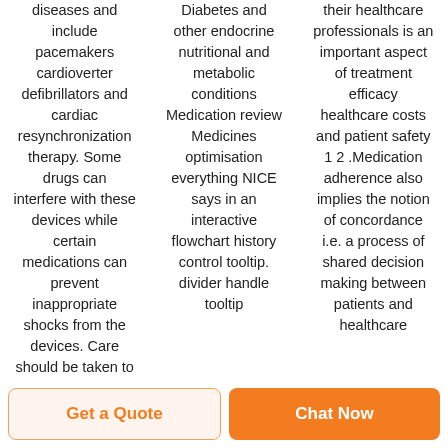diseases and include pacemakers cardioverter defibrillators and cardiac resynchronization therapy. Some drugs can interfere with these devices while certain medications can prevent inappropriate shocks from the devices. Care should be taken to
Diabetes and other endocrine nutritional and metabolic conditions Medication review Medicines optimisation everything NICE says in an interactive flowchart history control tooltip. divider handle tooltip
their healthcare professionals is an important aspect of treatment efficacy healthcare costs and patient safety 1 2 .Medication adherence also implies the notion of concordance i.e. a process of shared decision making between patients and healthcare